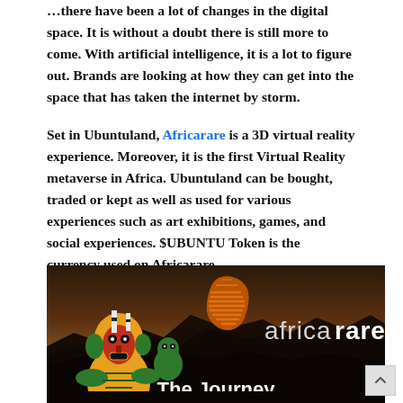…there have been a lot of changes in the digital space. It is without a doubt there is still more to come. With artificial intelligence, it is a lot to figure out. Brands are looking at how they can get into the space that has taken the internet by storm.
Set in Ubuntuland, Africarare is a 3D virtual reality experience. Moreover, it is the first Virtual Reality metaverse in Africa. Ubuntuland can be bought, traded or kept as well as used for various experiences such as art exhibitions, games, and social experiences. $UBUNTU Token is the currency used on Africarare.
[Figure (photo): Africarare promotional image showing African figurine masks on the left and the Africarare logo (orange Africa-shaped icon with horizontal stripes and the text 'africarare') on a dark rocky landscape background. At the bottom reads 'The Journey' in white text.]